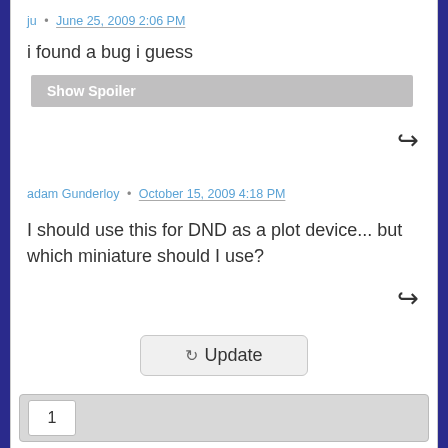ju • June 25, 2009 2:06 PM
i found a bug i guess
Show Spoiler
adam Gunderloy • October 15, 2009 4:18 PM
I should use this for DND as a plot device... but which miniature should I use?
Update
1